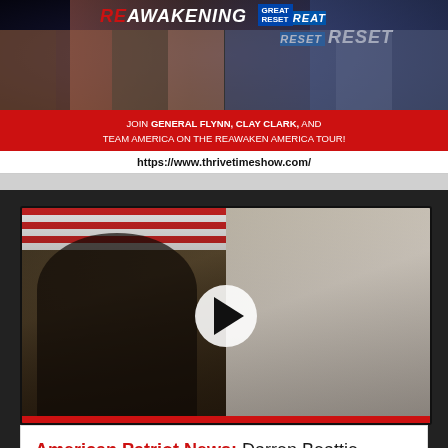[Figure (screenshot): ReAwakening vs Reset banner with group photos of speakers on dark space background]
JOIN GENERAL FLYNN, CLAY CLARK, AND TEAM AMERICA ON THE REAWAKEN AMERICA TOUR!
https://www.thrivetimeshow.com/
[Figure (screenshot): Video thumbnail showing two men in split screen - left man in black jacket with microphone against American flag, right man wearing headphones. Large white play button circle in center.]
American Patriot News: Darren Beattie Breaks Down One of the Most Damning Examples of Jan 6 Lies